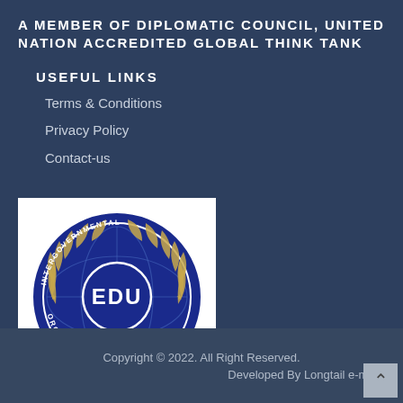A MEMBER OF DIPLOMATIC COUNCIL, UNITED NATION ACCREDITED GLOBAL THINK TANK
USEFUL LINKS
Terms & Conditions
Privacy Policy
Contact-us
[Figure (logo): EDU Intergovernmental Organization accreditation badge/seal with 'EDU' text in the center, circular emblem with laurel wreath, and 'ACCREDITED' label at the bottom on a blue background.]
AIDIA, IS ACCREDITED BY EDU-INTER GOVERNMENTAL ORGANIZATION
Copyright © 2022. All Right Reserved.
Developed By Longtail e-media